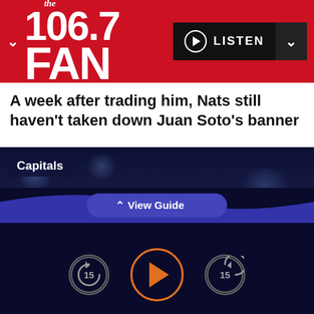106.7 The FAN
A week after trading him, Nats still haven't taken down Juan Soto's banner
[Figure (photo): Basketball player in Washington Wizards red jersey with white headband, looking upward. Label 'Capitals' in top-left corner.]
View Guide